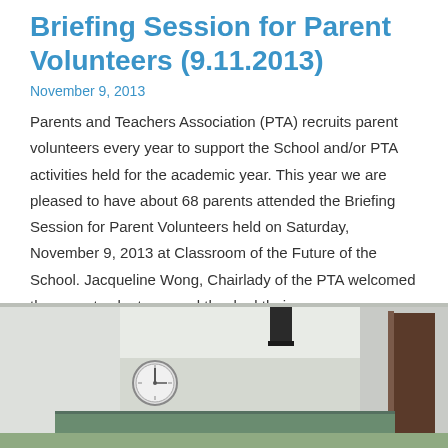Briefing Session for Parent Volunteers (9.11.2013)
November 9, 2013
Parents and Teachers Association (PTA) recruits parent volunteers every year to support the School and/or PTA activities held for the academic year. This year we are pleased to have about 68 parents attended the Briefing Session for Parent Volunteers held on Saturday, November 9, 2013 at Classroom of the Future of the School. Jacqueline Wong, Chairlady of the PTA welcomed the parent volunteers and thanked their …
Read More »
[Figure (photo): Classroom photo showing a room with white walls, a round clock on the left wall, a black speaker or device on the ceiling, and a dark door or panel on the right side. Green/teal chalkboard visible at the bottom.]